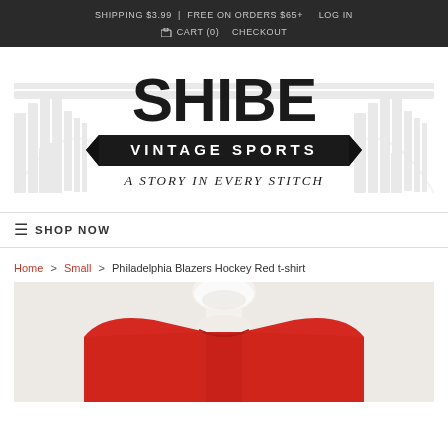SHIPPING $3.99 | FREE ON ORDERS $65+  LOG IN
🛒 CART (0)  CHECKOUT
[Figure (logo): Shibe Vintage Sports logo — large bold black 'SHIBE' text above a black banner reading 'VINTAGE SPORTS', with tagline 'A STORY IN EVERY STITCH' below. Stadium illustration in grey background.]
≡ SHOP NOW
Home > Small > Philadelphia Blazers Hockey Red t-shirt
[Figure (photo): Partial view of a red t-shirt on a white mannequin torso, showing the collar and upper chest area against a light beige background.]